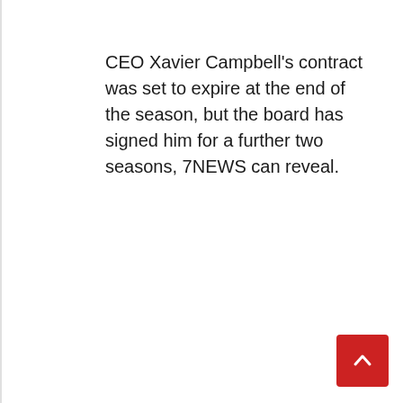CEO Xavier Campbell's contract was set to expire at the end of the season, but the board has signed him for a further two seasons, 7NEWS can reveal.